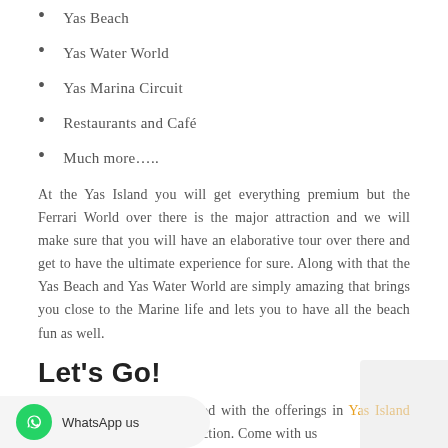Yas Beach
Yas Water World
Yas Marina Circuit
Restaurants and Café
Much more…..
At the Yas Island you will get everything premium but the Ferrari World over there is the major attraction and we will make sure that you will have an elaborative tour over there and get to have the ultimate experience for sure. Along with that the Yas Beach and Yas Water World are simply amazing that brings you close to the Marine life and lets you to have all the beach fun as well.
Let's Go!
Once you have got impressed with the offerings in Yas Island then it is the time for some action. Come with us